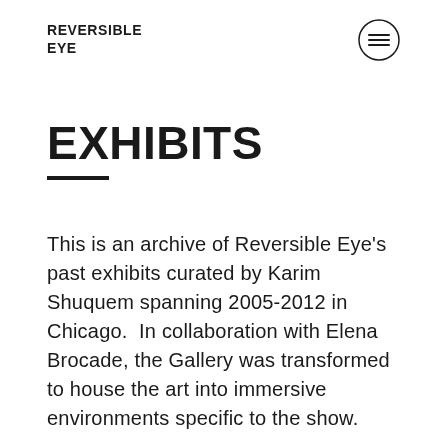REVERSIBLE EYE
EXHIBITS
This is an archive of Reversible Eye's past exhibits curated by Karim Shuquem spanning 2005-2012 in Chicago.  In collaboration with Elena Brocade, the Gallery was transformed to house the art into immersive environments specific to the show.